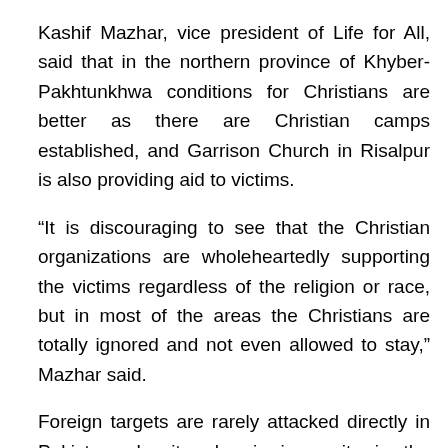Kashif Mazhar, vice president of Life for All, said that in the northern province of Khyber-Pakhtunkhwa conditions for Christians are better as there are Christian camps established, and Garrison Church in Risalpur is also providing aid to victims.
“It is discouraging to see that the Christian organizations are wholeheartedly supporting the victims regardless of the religion or race, but in most of the areas the Christians are totally ignored and not even allowed to stay,” Mazhar said.
Foreign targets are rarely attacked directly in Pakistan, despite chronic insecurity in the nuclear-armed state, which is a key ally in the U.S.-led war on Al Qaeda and the Taliban in neighboring Afghanistan. On March 10, however, suspected Islamic militants armed with guns and